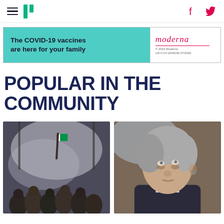HuffPost navigation with hamburger menu, logo, Facebook and Twitter icons
[Figure (other): Advertisement banner: 'The COVID-19 vaccines are here for your family' with Moderna logo on teal and white background]
POPULAR IN THE COMMUNITY
[Figure (photo): Crowd of people in a smoky interior space, someone raising a flag]
[Figure (photo): Close-up portrait of a grey-haired man in a suit looking upward]